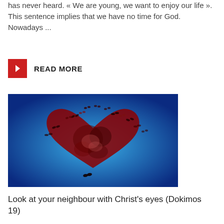has never heard. " We are young, we want to enjoy our life ». This sentence implies that we have no time for God. Nowadays ...
READ MORE
[Figure (photo): A heart shape made of red and black butterflies against a blue gradient background, with butterflies dispersing outward from the heart.]
Look at your neighbour with Christ's eyes (Dokimos 19)